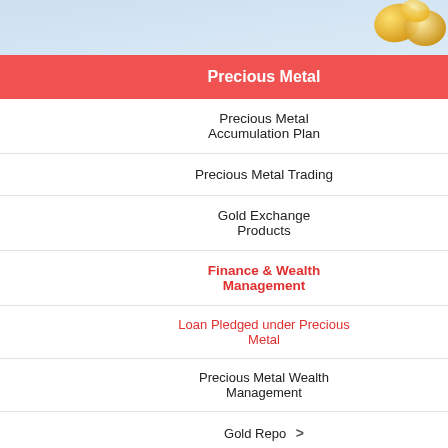[Figure (illustration): Top banner with light blue gradient background and gold coins on the right side]
Precious Metal
Precious Metal Accumulation Plan ▶
Precious Metal Trading ▶
Gold Exchange Products ▶
Finance & Wealth Management ▶
Loan Pledged under Precious Metal ▶
Precious Metal Wealth Management ▶
Gold Repo ▶
Useful Links
What's New
Home > Precious Metal > Financ...
☆ Service Introduction
This is a loan service where precious metals are used as pledges.
1. Standard precious metal that can be pledged:
(1) Standard gold. Including: Au99.9...
(2) Standard silver. Including: Ag99....
(3) Standard platinum. Including: Pt...
(4) Others.
2. Physical gold under "Ruyi Gold" series, and weighing 0.02 kilogram, 0.05 kilogram products under "Ruyi Gold" series.
☆ Target Clients
Corporate clients or personal customers...
☆ Features
1. Increased liquidity of precious metals...